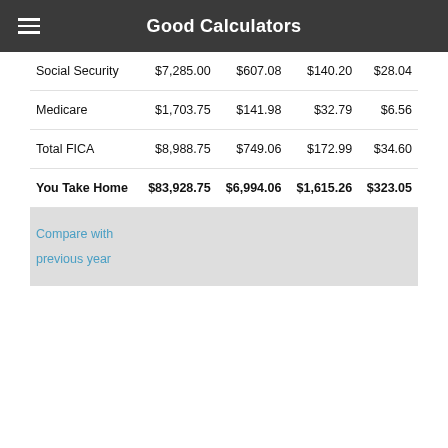Good Calculators
| Social Security | $7,285.00 | $607.08 | $140.20 | $28.04 |
| Medicare | $1,703.75 | $141.98 | $32.79 | $6.56 |
| Total FICA | $8,988.75 | $749.06 | $172.99 | $34.60 |
| You Take Home | $83,928.75 | $6,994.06 | $1,615.26 | $323.05 |
Compare with previous year